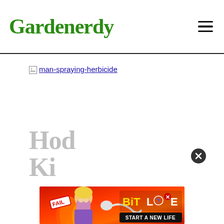Gardenerdy
[Figure (photo): Broken image placeholder for 'man-spraying-herbicide' with linked alt text]
Ho... Kill...d Ki...
[Figure (other): Advertisement banner for BitLife game with 'FAIL' badge, animated girl graphic, sperm icon, BitLife logo, and 'START A NEW LIFE' button. Red/orange flame background.]